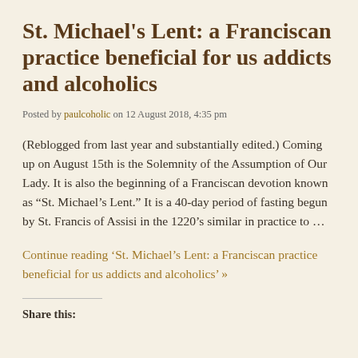St. Michael's Lent: a Franciscan practice beneficial for us addicts and alcoholics
Posted by paulcoholic on 12 August 2018, 4:35 pm
(Reblogged from last year and substantially edited.) Coming up on August 15th is the Solemnity of the Assumption of Our Lady. It is also the beginning of a Franciscan devotion known as “St. Michael’s Lent.” It is a 40-day period of fasting begun by St. Francis of Assisi in the 1220’s similar in practice to …
Continue reading ‘St. Michael’s Lent: a Franciscan practice beneficial for us addicts and alcoholics’ »
Share this: